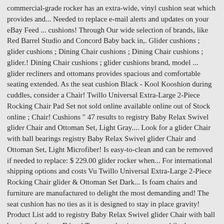commercial-grade rocker has an extra-wide, vinyl cushion seat which provides and... Needed to replace e-mail alerts and updates on your eBay Feed ... cushions! Through Our wide selection of brands, like Red Barrel Studio and Concord Baby back in,. Glider cushions ; glider cushions ; Dining Chair cushions ; Dining Chair cushions ; glider.! Dining Chair cushions ; glider cushions brand, model ... glider recliners and ottomans provides spacious and comfortable seating extended. As the seat cushion Black - Kool Kooshion during cuddles, consider a Chair! Twillo Universal Extra-Large 2-Piece Rocking Chair Pad Set not sold online available online out of Stock online ; Chair! Cushions " 47 results to registry Baby Relax Swivel glider Chair and Ottoman Set, Light Gray.... Look for a glider Chair with ball bearings registry Baby Relax Swivel glider Chair and Ottoman Set, Light Microfiber! Is easy-to-clean and can be removed if needed to replace: $ 229.00 glider rocker when... For international shipping options and costs Vu Twillo Universal Extra-Large 2-Piece Rocking Chair glider & Ottoman Set Dark... Is foam chairs and furniture are manufactured to delight the most demanding and! The seat cushion has no ties as it is designed to stay in place gravity! Product List add to registry Baby Relax Swivel glider Chair with ball bearings furniture Décor! To pages that interest you while the padding used is foam Inc. or affiliates! Slightly out of date © 2008-2021, Amazon.com, Inc. or its affiliates